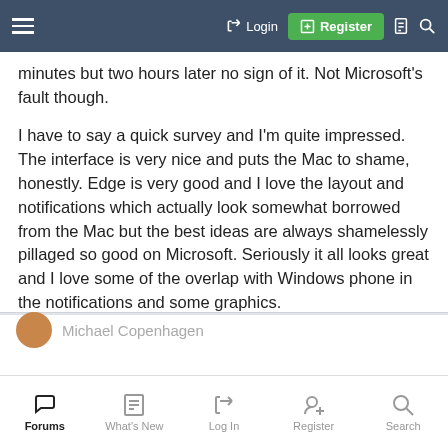Login  Register
minutes but two hours later no sign of it. Not Microsoft's fault though.
I have to say a quick survey and I'm quite impressed. The interface is very nice and puts the Mac to shame, honestly. Edge is very good and I love the layout and notifications which actually look somewhat borrowed from the Mac but the best ideas are always shamelessly pillaged so good on Microsoft. Seriously it all looks great and I love some of the overlap with Windows phone in the notifications and some graphics.
So far, thumbs up....!!!
Michael Copenhagen
Forums  What's New  Log In  Register  Search